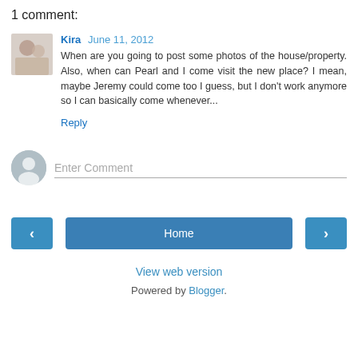1 comment:
Kira June 11, 2012
When are you going to post some photos of the house/property. Also, when can Pearl and I come visit the new place? I mean, maybe Jeremy could come too I guess, but I don't work anymore so I can basically come whenever...
Reply
Enter Comment
Home
View web version
Powered by Blogger.